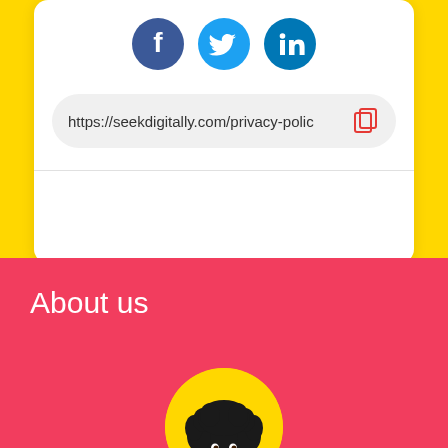[Figure (other): Three circular social media icons: Facebook (blue), Twitter (cyan), LinkedIn (blue)]
https://seekdigitally.com/privacy-polic
About us
[Figure (photo): Circular avatar photo of a person with curly dark hair on yellow background]